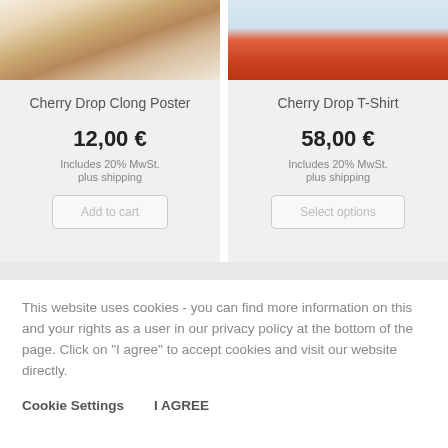[Figure (photo): Product image of Cherry Drop Clong Poster - wooden cabinet with decorative items]
Cherry Drop Clong Poster
12,00 €
Includes 20% MwSt.
plus shipping
Add to cart
[Figure (photo): Product image of Cherry Drop T-Shirt - orange/red t-shirt with design]
Cherry Drop T-Shirt
58,00 €
Includes 20% MwSt.
plus shipping
Select options
This website uses cookies - you can find more information on this and your rights as a user in our privacy policy at the bottom of the page. Click on "I agree" to accept cookies and visit our website directly.
Cookie Settings
I AGREE